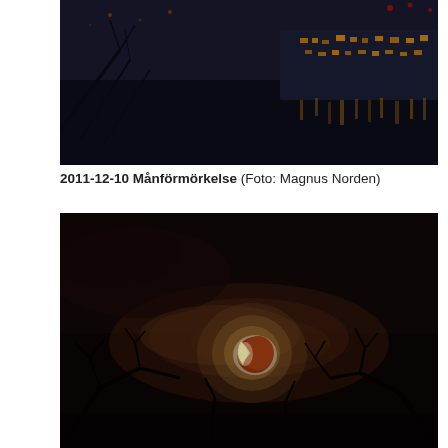[Figure (photo): Nighttime photograph of a cityscape reflected in water with bokeh lights and bare tree branches in the foreground]
2011-12-10 Månförmörkelse (Foto: Magnus Norden)
[Figure (photo): Lunar eclipse photo showing a partially eclipsed blood moon with reddish-orange color surrounded by clouds and silhouetted bare tree branches against a dark night sky]